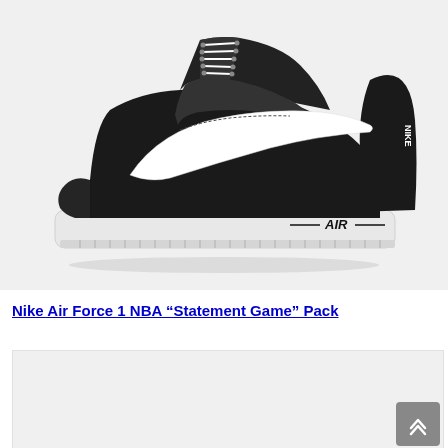[Figure (photo): Nike Air Force 1 NBA Statement Game Pack sneaker in black with white swoosh and white sole, shown from the side on a light gray background. The sole reads 'AIR' with dashes on either side.]
Nike Air Force 1 NBA “Statement Game” Pack
[Figure (photo): Partial view of another sneaker product image, mostly gray/white, cut off at the bottom of the page.]